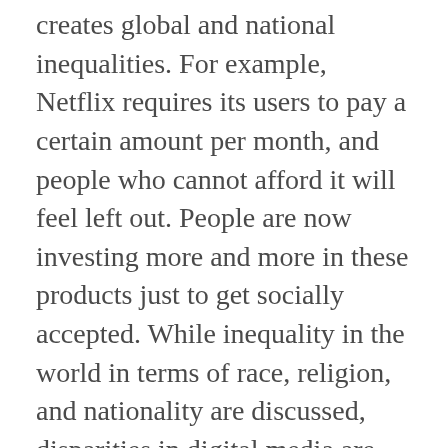creates global and national inequalities. For example, Netflix requires its users to pay a certain amount per month, and people who cannot afford it will feel left out. People are now investing more and more in these products just to get socially accepted. While inequality in the world in terms of race, religion, and nationality are discussed, disparities in digital media are emerging as one of the main problems facing the world.
On one side, where the media can help retain private information safe, it can also, on the other hand, include a risk of hackers inaccurately getting access to